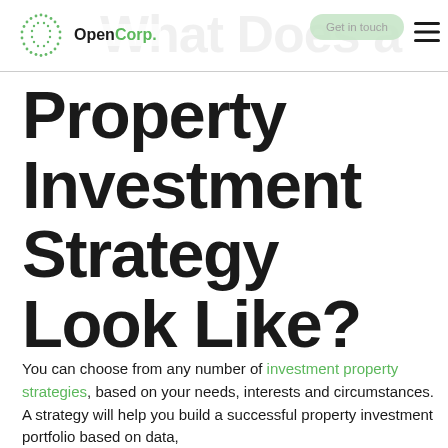OpenCorp.
Property Investment Strategy Look Like?
You can choose from any number of investment property strategies, based on your needs, interests and circumstances. A strategy will help you build a successful property investment portfolio based on data,